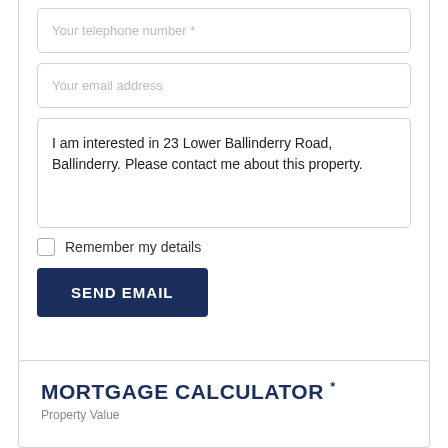Your telephone number *
Your email address
I am interested in 23 Lower Ballinderry Road, Ballinderry. Please contact me about this property.
Remember my details
SEND EMAIL
MORTGAGE CALCULATOR *
Property Value